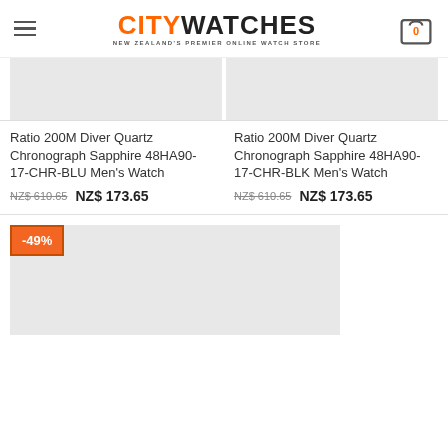CITY WATCHES - NEW ZEALAND'S PREMIER ONLINE WATCH STORE
[Figure (screenshot): Product image placeholder (light gray box) for BLU watch]
Ratio 200M Diver Quartz Chronograph Sapphire 48HA90-17-CHR-BLU Men's Watch
NZ$ 610.65   NZ$ 173.65
[Figure (screenshot): Product image placeholder (light gray box) for BLK watch]
Ratio 200M Diver Quartz Chronograph Sapphire 48HA90-17-CHR-BLK Men's Watch
NZ$ 610.65   NZ$ 173.65
[Figure (screenshot): Product image placeholder (light gray box) with -49% discount badge for third watch product]